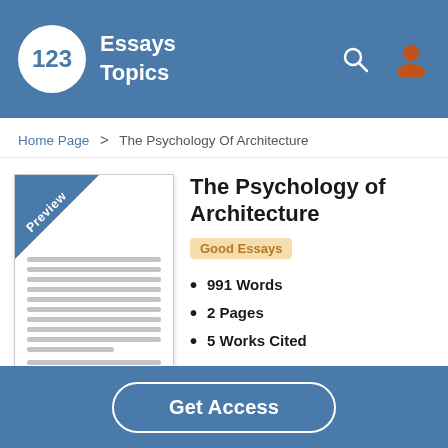123 Essays Topics
Home Page > The Psychology Of Architecture
[Figure (illustration): Preview thumbnail of a document page with a blue triangular banner labeled 'Preview' in the top-left corner, and multiple horizontal lines representing text content.]
The Psychology of Architecture
Good Essays
991 Words
2 Pages
5 Works Cited
Open Document
Get Access